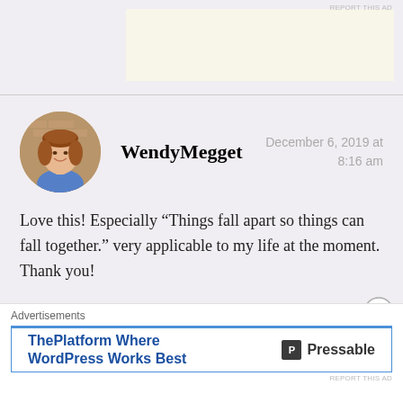[Figure (other): Top advertisement banner area with light yellow background]
REPORT THIS AD
[Figure (photo): Circular avatar photo of WendyMegget, a woman with reddish-brown hair smiling, against a brick wall background]
WendyMegget
December 6, 2019 at 8:16 am
Love this! Especially “Things fall apart so things can fall together.” very applicable to my life at the moment. Thank you!
★ Liked by 2 people
Reply
[Figure (other): Bottom advertisement: ThePlatform Where WordPress Works Best — Pressable]
REPORT THIS AD